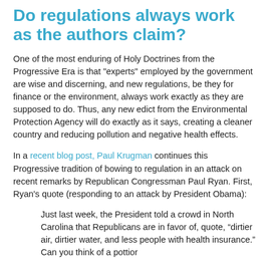Do regulations always work as the authors claim?
One of the most enduring of Holy Doctrines from the Progressive Era is that "experts" employed by the government are wise and discerning, and new regulations, be they for finance or the environment, always work exactly as they are supposed to do. Thus, any new edict from the Environmental Protection Agency will do exactly as it says, creating a cleaner country and reducing pollution and negative health effects.
In a recent blog post, Paul Krugman continues this Progressive tradition of bowing to regulation in an attack on recent remarks by Republican Congressman Paul Ryan. First, Ryan's quote (responding to an attack by President Obama):
Just last week, the President told a crowd in North Carolina that Republicans are in favor of, quote, “dirtier air, dirtier water, and less people with health insurance.” Can you think of a pottior